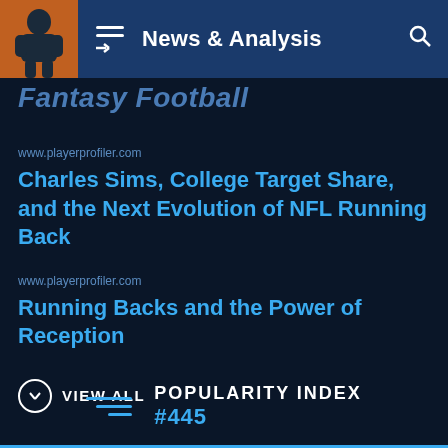News & Analysis
Fantasy Football
www.playerprofiler.com
Charles Sims, College Target Share, and the Next Evolution of NFL Running Back
www.playerprofiler.com
Running Backs and the Power of Reception
VIEW ALL
POPULARITY INDEX
#445